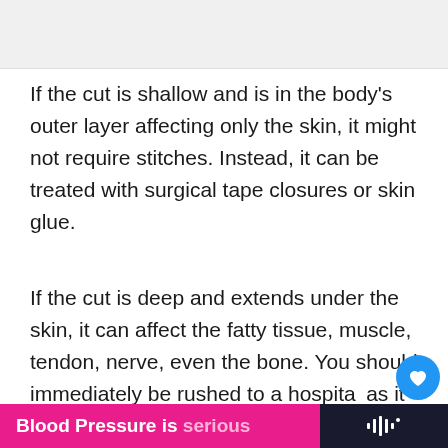[Figure (photo): Top image placeholder - light grey rectangle]
If the cut is shallow and is in the body's outer layer affecting only the skin, it might not require stitches. Instead, it can be treated with surgical tape closures or skin glue.
If the cut is deep and extends under the skin, it can affect the fatty tissue, muscle, tendon, nerve, even the bone. You should immediately be rushed to a hospital as it needs medical care at this point. Use a cl...
[Figure (screenshot): UI overlay with heart/like button showing count 2, share button, and WHAT'S NEXT panel showing Buzzing Or Vibrating...]
[Figure (infographic): Ad banner: Blood Pressure is serious in pink background, with dark panel on right showing audio wave icon]